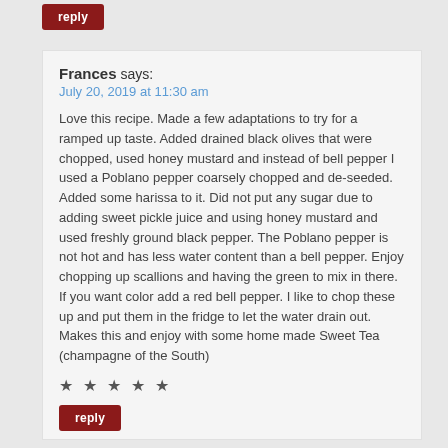reply
Frances says:
July 20, 2019 at 11:30 am
Love this recipe. Made a few adaptations to try for a ramped up taste. Added drained black olives that were chopped, used honey mustard and instead of bell pepper I used a Poblano pepper coarsely chopped and de-seeded. Added some harissa to it. Did not put any sugar due to adding sweet pickle juice and using honey mustard and used freshly ground black pepper. The Poblano pepper is not hot and has less water content than a bell pepper. Enjoy chopping up scallions and having the green to mix in there. If you want color add a red bell pepper. I like to chop these up and put them in the fridge to let the water drain out. Makes this and enjoy with some home made Sweet Tea (champagne of the South)
★ ★ ★ ★ ★
reply